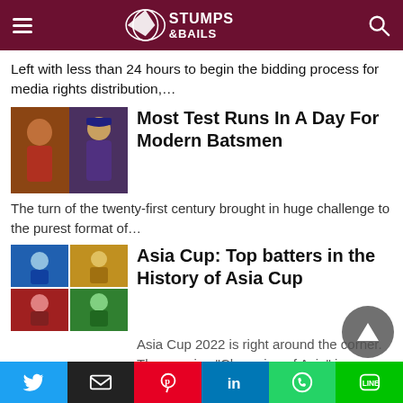Stumps & Bails
Left with less than 24 hours to begin the bidding process for media rights distribution,…
Most Test Runs In A Day For Modern Batsmen
The turn of the twenty-first century brought in huge challenge to the purest format of…
Asia Cup: Top batters in the History of Asia Cup
Asia Cup 2022 is right around the corner. The genuine "Champion of Asia" is determined…
How Shakib al Hasan is changing Bangladesh's game, if at all
How exactly will the fate of Bangladesh